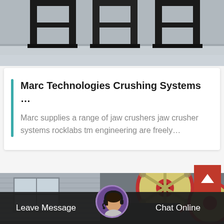[Figure (photo): Industrial metal frame structure, black steel, on concrete floor]
Marc Technologies Crushing Systems …
Marc supplies a range of jaw crushers jaw crusher systems rocklabs tm engineering are freely…
[Figure (photo): Industrial jaw crusher machine with yellow flywheel and red rim, in front of a corrugated metal building with windows]
Leave Message
Chat Online